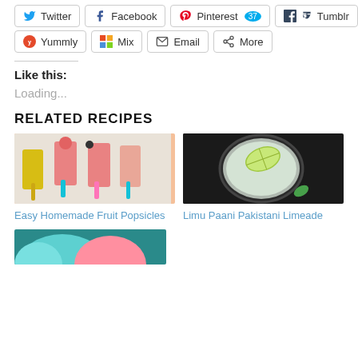Twitter
Facebook
Pinterest 37
Tumblr
Yummly
Mix
Email
More
Like this:
Loading...
RELATED RECIPES
[Figure (photo): Easy Homemade Fruit Popsicles — colorful fruit popsicles on sticks]
Easy Homemade Fruit Popsicles
[Figure (photo): Limu Paani Pakistani Limeade — glass of limeade with lime slice on dark background]
Limu Paani Pakistani Limeade
[Figure (photo): Partial view of a colorful dessert or ice cream — teal and pink colors, partially cropped]